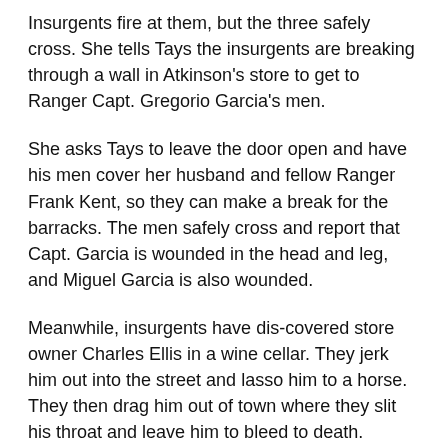Insurgents fire at them, but the three safely cross. She tells Tays the insurgents are breaking through a wall in Atkinson's store to get to Ranger Capt. Gregorio Garcia's men.
She asks Tays to leave the door open and have his men cover her husband and fellow Ranger Frank Kent, so they can make a break for the barracks. The men safely cross and report that Capt. Garcia is wounded in the head and leg, and Miguel Garcia is also wounded.
Meanwhile, insurgents have dis-covered store owner Charles Ellis in a wine cellar. They jerk him out into the street and lasso him to a horse. They then drag him out of town where they slit his throat and leave him to bleed to death.
By Sunday, December 16, El Molino has fallen and the Rangers have lost the field of fire. Insurgents now